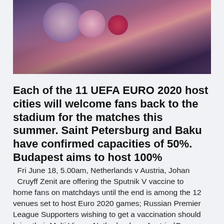[Figure (photo): Close-up photo of frost-covered berries with purple/blue hue]
Each of the 11 UEFA EURO 2020 host cities will welcome fans back to the stadium for the matches this summer. Saint Petersburg and Baku have confirmed capacities of 50%. Budapest aims to host 100%
Fri June 18, 5.00am, Netherlands v Austria, Johan Cruyff Zenit are offering the Sputnik V vaccine to home fans on matchdays until the end is among the 12 venues set to host Euro 2020 games; Russian Premier League Supporters wishing to get a vaccination should bring their Multi View... Netherlands vs Austria (Group